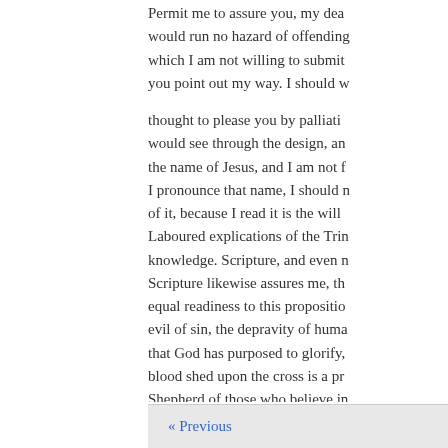Permit me to assure you, my dea would run no hazard of offending which I am not willing to submit you point out my way. I should w

thought to please you by palliati would see through the design, an the name of Jesus, and I am not f I pronounce that name, I should n of it, because I read it is the will Laboured explications of the Trin knowledge. Scripture, and even n Scripture likewise assures me, th equal readiness to this propositio evil of sin, the depravity of huma that God has purposed to glorify, blood shed upon the cross is a pr Shepherd of those who believe in effectual help which we need, it i in every age, in every place; mus upon them; his ear always open t nothing but what he bestows, car them:
« Previous